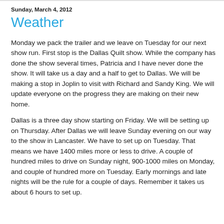Sunday, March 4, 2012
Weather
Monday we pack the trailer and we leave on Tuesday for our next show run.  First stop is the Dallas Quilt show.  While the company has done the show several times, Patricia and I have never done the show.  It will take us a day and a half to get to Dallas.  We will be making a stop in Joplin to visit with Richard and Sandy King.  We will update everyone on the progress they are making on their new home.
Dallas is a three day show starting on Friday.  We will be setting up on Thursday.  After Dallas we will leave Sunday evening on our way to the show in Lancaster.  We have to set up on Tuesday.  That means we have 1400 miles more or less to drive.   A couple of hundred miles to drive on Sunday night, 900-1000 miles on Monday, and couple of hundred more on Tuesday.  Early mornings and late nights will be the rule for a couple of days. Remember it takes us about 6 hours to set up.